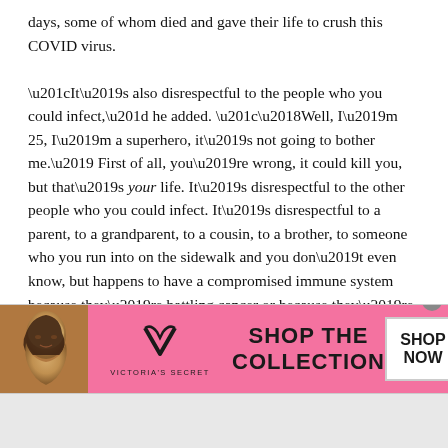days, some of whom died and gave their life to crush this COVID virus.

“It’s also disrespectful to the people who you could infect,” he added. “‘Well, I’m 25, I’m a superhero, it’s not going to bother me.’ First of all, you’re wrong, it could kill you, but that’s your life. It’s disrespectful to the other people who you could infect. It’s disrespectful to a parent, to a grandparent, to a cousin, to a brother, to someone who you run into on the sidewalk and you don’t even know, but happens to have a compromised immune system because they’re battling cancer or because they’re battling H.I.V. and you infect them and you wind up killing them.”
[Figure (infographic): Victoria's Secret advertisement banner with a model photo on the left, VS logo in the center, 'SHOP THE COLLECTION' text in the middle, and a 'SHOP NOW' button on the right. Pink background.]